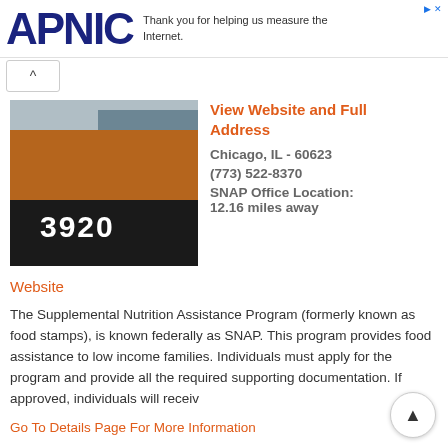APNIC — Thank you for helping us measure the Internet.
[Figure (photo): Exterior photo of a brick building with the number 3920 displayed on a dark facade, with grey panel cladding visible]
View Website and Full Address
Chicago, IL - 60623
(773) 522-8370
SNAP Office Location:
12.16 miles away
Website
The Supplemental Nutrition Assistance Program (formerly known as food stamps), is known federally as SNAP. This program provides food assistance to low income families. Individuals must apply for the program and provide all the required supporting documentation. If approved, individuals will receiv
Go To Details Page For More Information